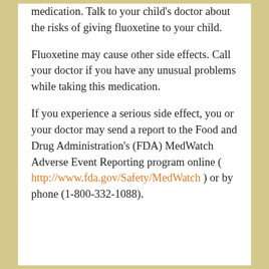medication. Talk to your child's doctor about the risks of giving fluoxetine to your child.
Fluoxetine may cause other side effects. Call your doctor if you have any unusual problems while taking this medication.
If you experience a serious side effect, you or your doctor may send a report to the Food and Drug Administration's (FDA) MedWatch Adverse Event Reporting program online ( http://www.fda.gov/Safety/MedWatch ) or by phone (1-800-332-1088).